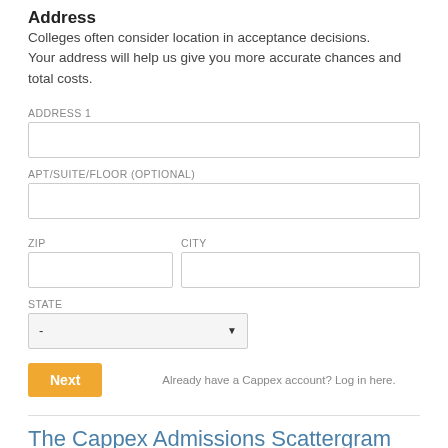Address
Colleges often consider location in acceptance decisions. Your address will help us give you more accurate chances and total costs.
ADDRESS 1
APT/SUITE/FLOOR (OPTIONAL)
ZIP
CITY
STATE
Next
Already have a Cappex account? Log in here.
The Cappex Admissions Scattergram
For the fourth and final step, you are asked to